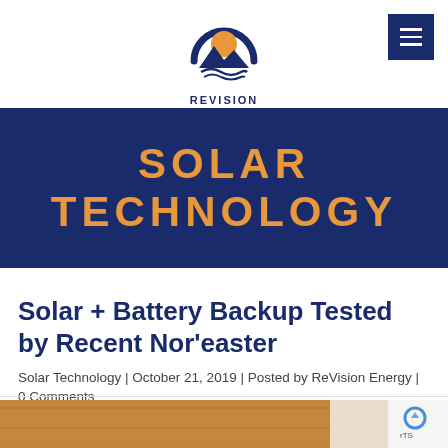[Figure (logo): ReVision Energy logo — circular emblem with sun and mountains in orange and dark navy, with text REVISION ENERGY below in dark navy bold]
SOLAR TECHNOLOGY
Solar + Battery Backup Tested by Recent Nor'easter
Solar Technology | October 21, 2019 | Posted by ReVision Energy | 0 Comments
SHARE THIS POST
[Figure (photo): Partial photo of wooden interior, cropped at bottom of page]